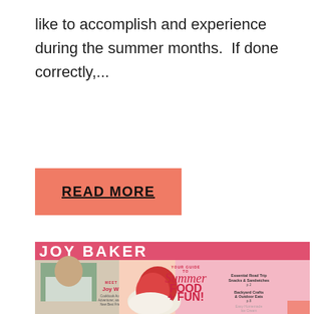like to accomplish and experience during the summer months.  If done correctly,...
READ MORE
[Figure (photo): JOY BAKER magazine cover featuring 'Your Guide to Summer Food + Fun!' with a person photo, strawberry shortcake, and text: Meet Joy Wilson, Cookbook Author, Adventurer, and Your New Best Friend. Features listed: Essential Road Trip Snacks & Sandwiches, Backyard Crafts & Outdoor Eats, Easy Homemade Ice Cream.]